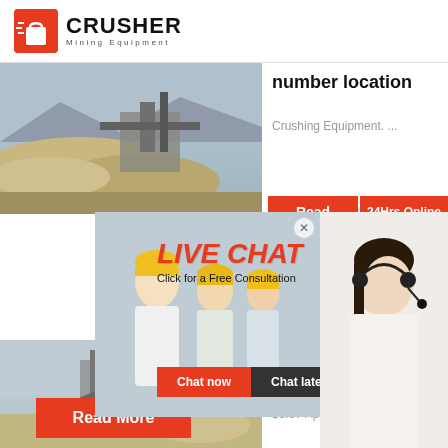[Figure (logo): Crusher Mining Equipment logo with red shopping bag icon and bold text]
[Figure (photo): Mining/crushing equipment site with gravel piles and industrial machinery]
number location
Crushing Equipment. ...
[Figure (photo): Mining equipment site with conveyor belt and workers]
IMEI Nu
Checker
IMEIChe
$0.07 Ap
[Figure (screenshot): Live Chat popup overlay with workers in hard hats, red LIVE CHAT title, Chat now and Chat later buttons, and female representative with headset on right side. 24Hrs Online badge visible.]
Read
24Hrs Online
Need questions & suggestion?
Chat Now
Enquiry
limingjlmofen@sina.com
Read More